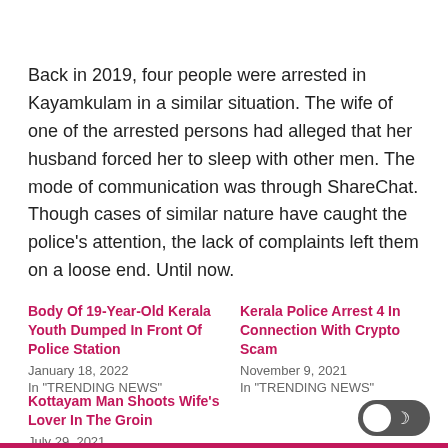Back in 2019, four people were arrested in Kayamkulam in a similar situation. The wife of one of the arrested persons had alleged that her husband forced her to sleep with other men. The mode of communication was through ShareChat. Though cases of similar nature have caught the police's attention, the lack of complaints left them on a loose end. Until now.
Body Of 19-Year-Old Kerala Youth Dumped In Front Of Police Station
January 18, 2022
In "TRENDING NEWS"
Kerala Police Arrest 4 In Connection With Crypto Scam
November 9, 2021
In "TRENDING NEWS"
Kottayam Man Shoots Wife's Lover In The Groin
July 29, 2021